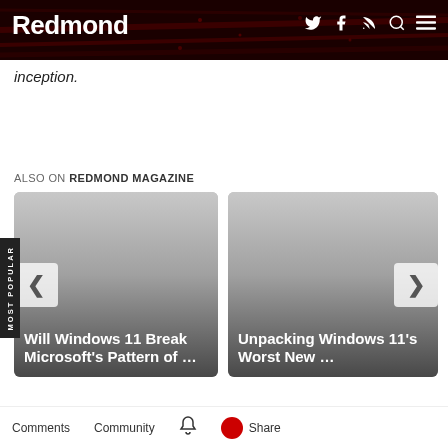Redmond
inception.
ALSO ON REDMOND MAGAZINE
[Figure (screenshot): Article card: Will Windows 11 Break Microsoft's Pattern of ...]
[Figure (screenshot): Article card: Unpacking Windows 11's Worst New ...]
Footer navigation bar with icons